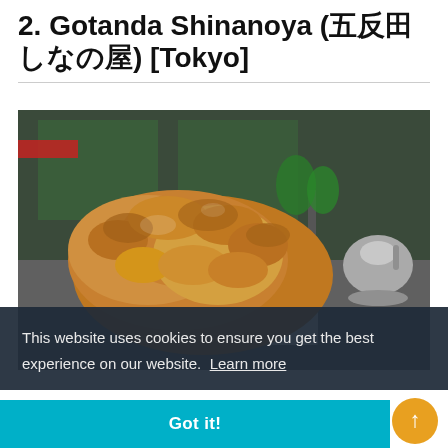2. Gotanda Shinanoya (五反田 しなの屋) [Tokyo]
[Figure (photo): Close-up photo of fried chicken karaage on a white napkin, with restaurant interior background including plants and a silver teapot]
This website uses cookies to ensure you get the best experience on our website. Learn more
Got it!